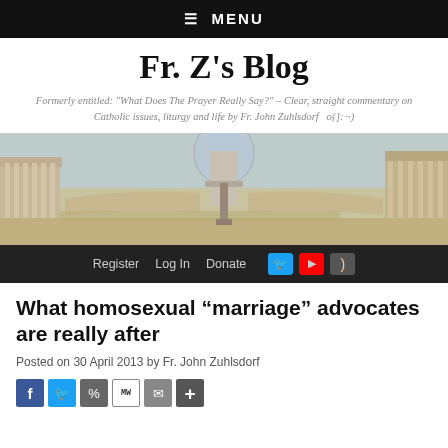☰  MENU
Fr. Z's Blog
Formerly entitled: "What Does The Prayer Really Say?" – Clear, straight commentary on Catholic issues, liturgy and life by Fr. John Zuhlsdorf   o{]:¬)
[Figure (illustration): Classic painting of St. Peter's Square in Rome, showing the basilica and colonnade]
Register   Log In   Donate
What homosexual “marriage” advocates are really after
Posted on 30 April 2013 by Fr. John Zuhlsdorf
f  [Twitter] [Share] [MW] [Email] [+]